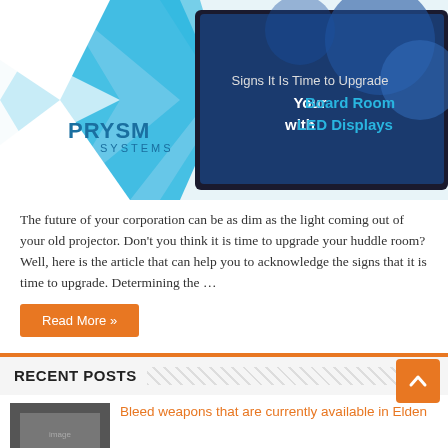[Figure (photo): Prysm Systems promotional image showing a boardroom display screen with text 'Signs It Is Time to Upgrade Your Board Room with LED Displays' on a blue background with geometric X design]
The future of your corporation can be as dim as the light coming out of your old projector. Don't you think it is time to upgrade your huddle room? Well, here is the article that can help you to acknowledge the signs that it is time to upgrade. Determining the …
Read More »
RECENT POSTS
Bleed weapons that are currently available in Elden